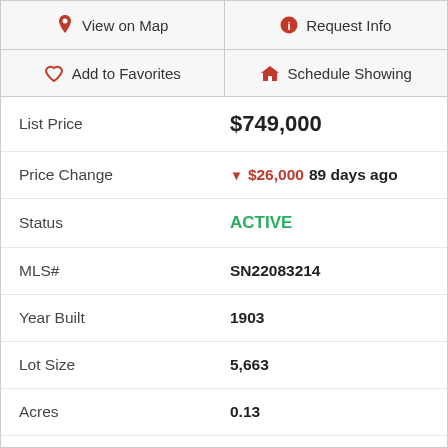| View on Map | Request Info |
| Add to Favorites | Schedule Showing |
| List Price | $749,000 |
| Price Change | ▼ $26,000 89 days ago |
| Status | ACTIVE |
| MLS# | SN22083214 |
| Year Built | 1903 |
| Lot Size | 5,663 |
| Acres | 0.13 |
| Lot Location | DripIrrigationBubblers |